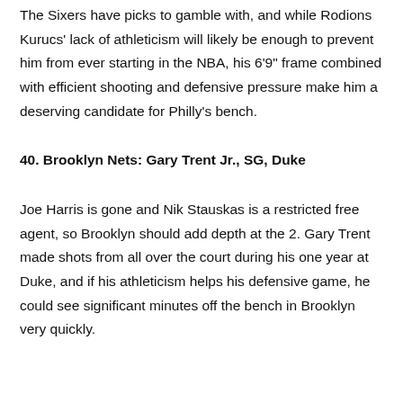The Sixers have picks to gamble with, and while Rodions Kurucs' lack of athleticism will likely be enough to prevent him from ever starting in the NBA, his 6'9" frame combined with efficient shooting and defensive pressure make him a deserving candidate for Philly's bench.
40. Brooklyn Nets: Gary Trent Jr., SG, Duke
Joe Harris is gone and Nik Stauskas is a restricted free agent, so Brooklyn should add depth at the 2. Gary Trent made shots from all over the court during his one year at Duke, and if his athleticism helps his defensive game, he could see significant minutes off the bench in Brooklyn very quickly.